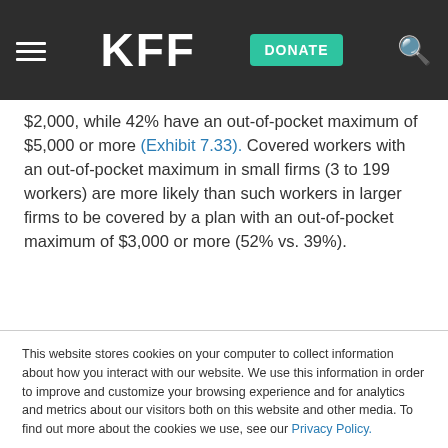KFF | DONATE
$2,000, while 42% have an out-of-pocket maximum of $5,000 or more (Exhibit 7.33). Covered workers with an out-of-pocket maximum in small firms (3 to 199 workers) are more likely than such workers in larger firms to be covered by a plan with an out-of-pocket maximum of $3,000 or more (52% vs. 39%).
This website stores cookies on your computer to collect information about how you interact with our website. We use this information in order to improve and customize your browsing experience and for analytics and metrics about our visitors both on this website and other media. To find out more about the cookies we use, see our Privacy Policy.
Accept